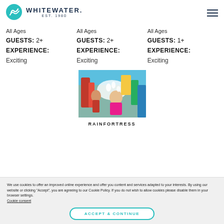[Figure (logo): Whitewater logo with teal wave circle icon and text WHITEWATER EST. 1980]
All Ages
GUESTS: 2+
EXPERIENCE:
Exciting
All Ages
GUESTS: 2+
EXPERIENCE:
Exciting
All Ages
GUESTS: 1+
EXPERIENCE:
Exciting
[Figure (photo): Children playing at a water park with splashing water and colorful slides]
RAINFORTRESS
We use cookies to offer an improved online experience and offer you content and services adapted to your interests. By using our website or clicking "Accept", you are agreeing to our Cookie Policy. If you do not wish to allow cookies please disable them in your browser settings. Cookie consent
ACCEPT & CONTINUE